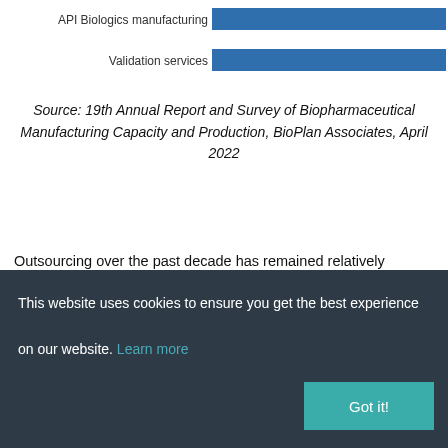[Figure (bar-chart): Partial view of a horizontal bar chart showing API Biologics manufacturing and Validation services bars]
Source: 19th Annual Report and Survey of Biopharmaceutical Manufacturing Capacity and Production, BioPlan Associates, April 2022
Outsourcing over the past decade has remained relatively consistent, with few clear up or down trends. In the past few years, the budget for outsourcing at individual facilities has grown at a steady rate, hovering around the low double digits. Overall, in 2022, more outsourcing in R&D or manufacturing in the next 12 months is expected.
This website uses cookies to ensure you get the best experience on our website. Learn more